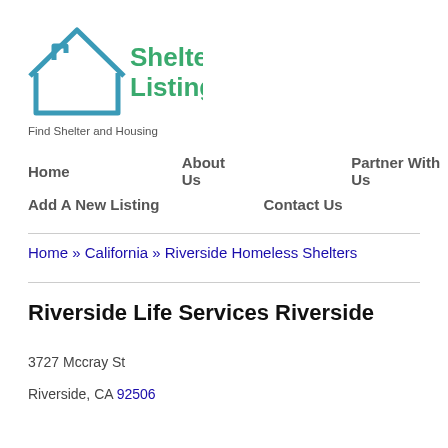[Figure (logo): ShelterListings.org logo with house outline in teal/blue and green text, tagline 'Find Shelter and Housing']
Home   About Us   Partner With Us
Add A New Listing   Contact Us
Home » California » Riverside Homeless Shelters
Riverside Life Services Riverside
3727 Mccray St
Riverside, CA 92506